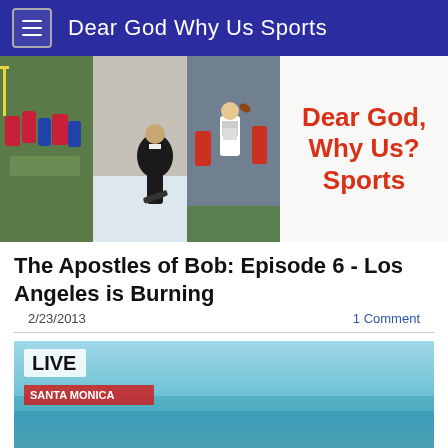Dear God Why Us Sports
[Figure (photo): Sports photo collage with football, hockey, and football player #89, plus 'Dear God, Why Us? Sports' logo text on white background]
The Apostles of Bob: Episode 6 - Los Angeles is Burning
2/23/2013    1 Comment
[Figure (screenshot): Breaking news screenshot showing 'LIVE SANTA MONICA' chyron over aerial beach/ocean footage with text 'BREAKING NEWS' at the bottom]